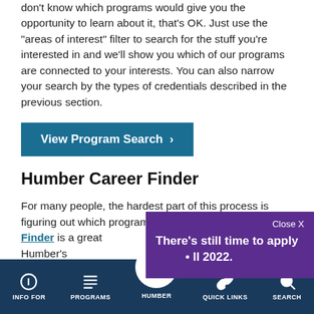don't know which programs would give you the opportunity to learn about it, that's OK. Just use the "areas of interest" filter to search for the stuff you're interested in and we'll show you which of our programs are connected to your interests. You can also narrow your search by the types of credentials described in the previous section.
View Program Search >
Humber Career Finder
For many people, the hardest part of this process is figuring out which program to take. The Humber Career Finder is a great [tool to match your] interests with Humber's [programs. It asks you a] series of questions abo[ut your interests...]
There's still time to apply [for Fa]ll 2022.
INFO FOR   PROGRAMS   HUMBER   QUICK LINKS   SEARCH